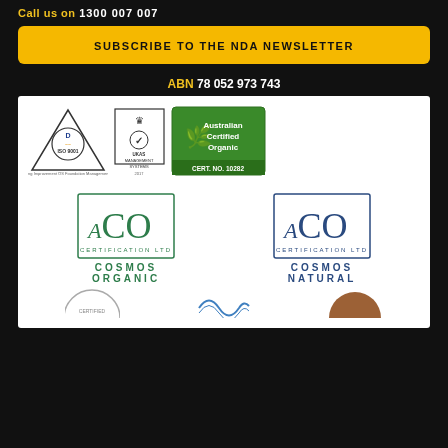Call us on 1300 007 007
SUBSCRIBE TO THE NDA NEWSLETTER
ABN 78 052 973 743
[Figure (logo): ISO 9001 certification logo with DAS triangle, UKAS Management Systems logo, and Australian Certified Organic logo (CERT. NO. 10282)]
[Figure (logo): ACO Certification Ltd - COSMOS ORGANIC logo (green)]
[Figure (logo): ACO Certification Ltd - COSMOS NATURAL logo (blue)]
[Figure (logo): Partial certification logos at bottom (3 logos partially visible)]